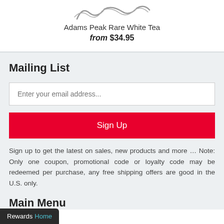[Figure (logo): Partial logo visible at top, cursive/script style text, partially cropped]
Adams Peak Rare White Tea
from $34.95
Mailing List
Enter your email address...
Sign Up
Sign up to get the latest on sales, new products and more … Note: Only one coupon, promotional code or loyalty code may be redeemed per purchase, any free shipping offers are good in the U.S. only.
Main Menu
Rewards Home